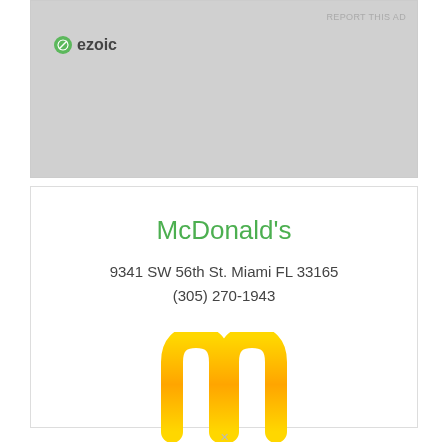[Figure (screenshot): Ezoic ad banner placeholder with light gray background]
REPORT THIS AD
[Figure (logo): Ezoic logo with green compass icon and bold ezoic text]
McDonald's
9341 SW 56th St. Miami FL 33165
(305) 270-1943
[Figure (logo): McDonald's golden arches logo in yellow/gold color]